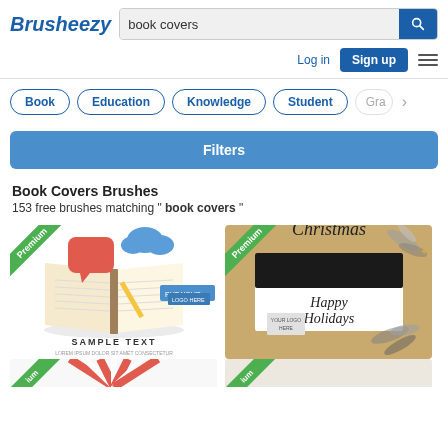Brusheezy — book covers search page
[Figure (screenshot): Brusheezy website header with logo, search bar showing 'book covers', and navigation buttons Log in, Sign up, and menu icon]
Book
Education
Knowledge
Student
Gra…
Filters
Book Covers Brushes
153 free brushes matching " book covers "
[Figure (illustration): Premium book cover template showing open book with speech bubbles and 'SAMPLE TEXT' label]
[Figure (illustration): Premium Christmas book cover template with 'Christmas Happy Holidays' handwritten text on kraft background]